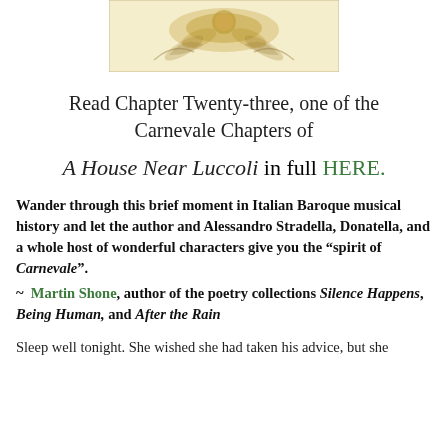[Figure (illustration): Decorative ornamental illustration with floral/golden motif on cream background, partially visible at top of page]
Read Chapter Twenty-three, one of the Carnevale Chapters of
A House Near Luccoli in full HERE.
Wander through this brief moment in Italian Baroque musical history and let the author and Alessandro Stradella, Donatella, and a whole host of wonderful characters give you the “spirit of Carnevale”.
~ Martin Shone, author of the poetry collections Silence Happens, Being Human, and After the Rain
Sleep well tonight. She wished she had taken his advice, but she